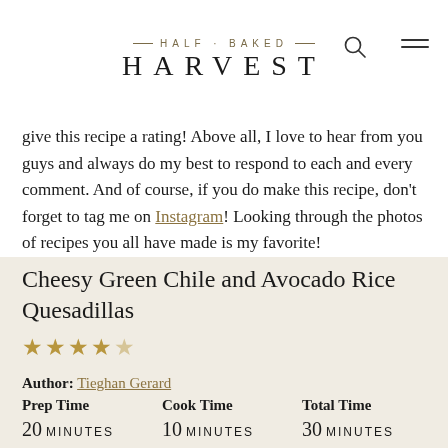HALF · BAKED — HARVEST
give this recipe a rating! Above all, I love to hear from you guys and always do my best to respond to each and every comment. And of course, if you do make this recipe, don't forget to tag me on Instagram! Looking through the photos of recipes you all have made is my favorite!
Cheesy Green Chile and Avocado Rice Quesadillas
★★★★★ (4.5 stars)
Author: Tieghan Gerard
| Prep Time | Cook Time | Total Time |
| --- | --- | --- |
| 20 MINUTES | 10 MINUTES | 30 MINUTES |